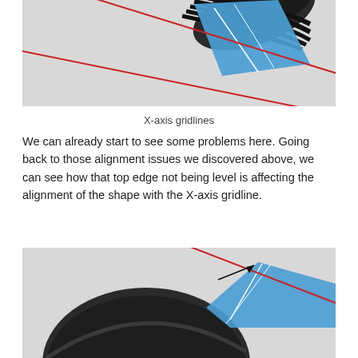[Figure (illustration): Illustration showing X-axis gridlines crossing over a blue diamond/quadrilateral shape with curved dark elements behind it, and two red diagonal lines crossing the scene]
X-axis gridlines
We can already start to see some problems here. Going back to those alignment issues we discovered above, we can see how that top edge not being level is affecting the alignment of the shape with the X-axis gridline.
[Figure (illustration): Close-up illustration showing a blue triangular/fan shape against a dark curved element, with a red diagonal gridline and a black arrow pointing to the top corner of the blue shape where it meets the gridline]